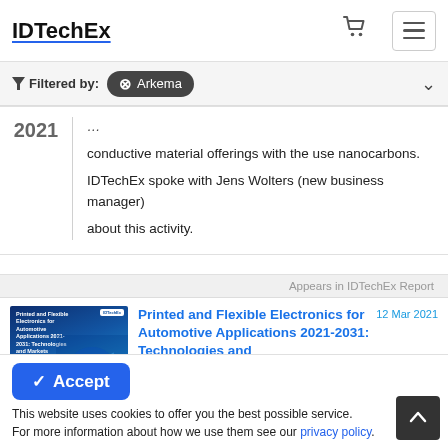IDTechEx
Filtered by: Arkema
conductive material offerings with the use nanocarbons. IDTechEx spoke with Jens Wolters (new business manager) about this activity.
Appears in IDTechEx Report
[Figure (photo): Cover of report: Printed and Flexible Electronics for Automotive Applications 2021-2031: Technologies and Markets]
Printed and Flexible Electronics for Automotive Applications 2021-2031: Technologies and Markets  12 Mar 2021
This website uses cookies to offer you the best possible service. For more information about how we use them see our privacy policy.